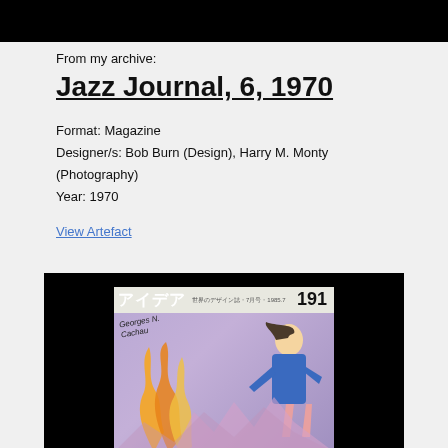[Figure (photo): Black bar at top of page]
From my archive:
Jazz Journal, 6, 1970
Format: Magazine
Designer/s: Bob Burn (Design), Harry M. Monty (Photography)
Year: 1970
View Artefact
[Figure (photo): Magazine cover shown against black background — Japanese design magazine 'Idea' issue 191, featuring colorful illustration of a figure with flames, purple/lavender background, with handwritten annotation 'Georges N. Cachau']